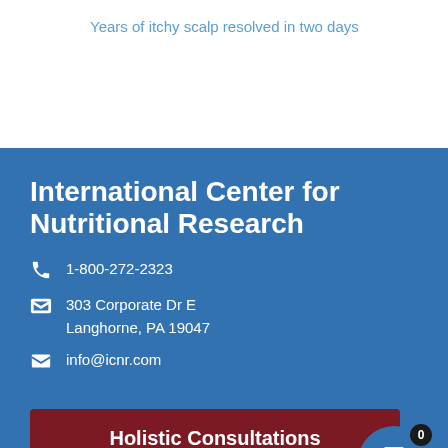Years of itchy scalp resolved in two days
International Center for Nutritional Research
1-800-272-2323
303 Corporate Dr E
Langhorne, PA 19047
info@icnr.com
Holistic Consultations
Natural Wellness Resources